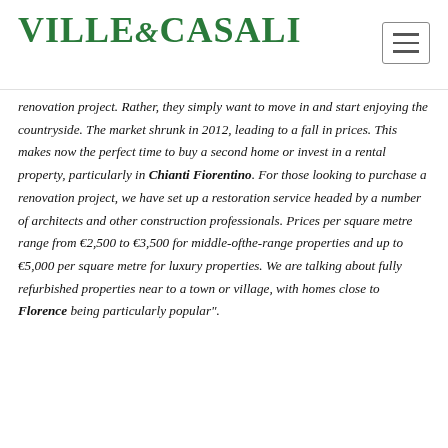VILLE & CASALI
renovation project. Rather, they simply want to move in and start enjoying the countryside. The market shrunk in 2012, leading to a fall in prices. This makes now the perfect time to buy a second home or invest in a rental property, particularly in Chianti Fiorentino. For those looking to purchase a renovation project, we have set up a restoration service headed by a number of architects and other construction professionals. Prices per square metre range from €2,500 to €3,500 for middle-ofthe-range properties and up to €5,000 per square metre for luxury properties. We are talking about fully refurbished properties near to a town or village, with homes close to Florence being particularly popular".